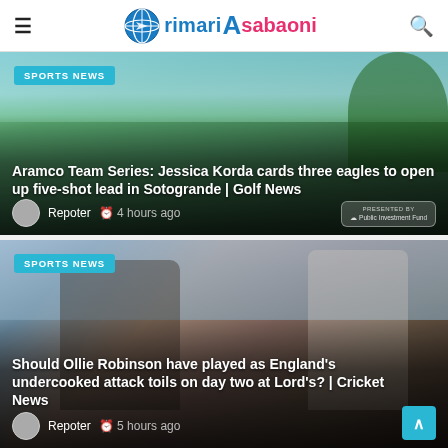rimari Asabaoni
[Figure (photo): Golf course scene with player and caddie on a green fairway under blue sky]
SPORTS NEWS
Aramco Team Series: Jessica Korda cards three eagles to open up five-shot lead in Sotogrande | Golf News
Repoter  4 hours ago
[Figure (photo): Two cricket players, one in England cap and sunglasses, another with white headband]
SPORTS NEWS
Should Ollie Robinson have played as England's undercooked attack toils on day two at Lord's? | Cricket News
Repoter  5 hours ago